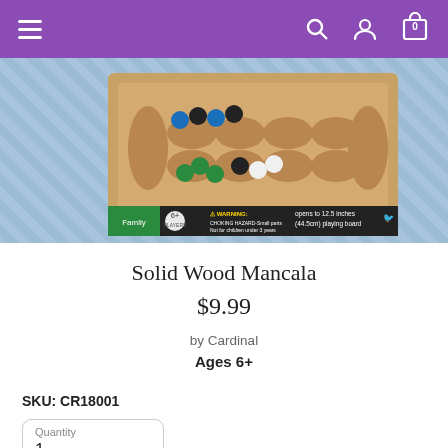Navigation header with hamburger menu, search, account, and cart icons
[Figure (photo): Product box of Solid Wood Mancala game showing wooden board with colorful marbles (green, blue, black, white). Box shows warning label and text 'opens to 12.5 inches (44.5cm) playing board'. Cardinal brand.]
Solid Wood Mancala
$9.99
by Cardinal
Ages 6+
SKU: CR18001
Quantity 1